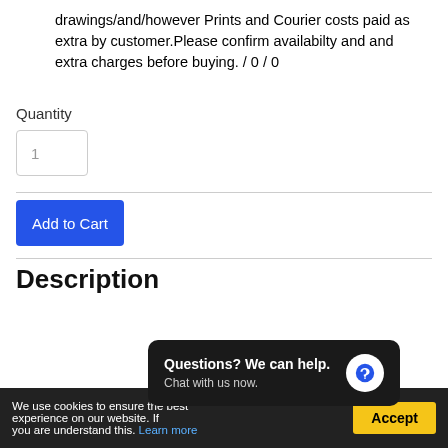drawings/and/however Prints and Courier costs paid as extra by customer.Please confirm availabilty and and extra charges before buying. / 0 / 0
Quantity
Add to Cart
Description
| Number of Bedrooms | 4 | Bedroom 2 (guest bed) | 14m2 |
| number of dining | 2 | Bedroom 3 | 10m2 |
We use cookies to ensure the best experience on our website. If you are understand this. Learn more
Questions? We can help. Chat with us now.
Accept